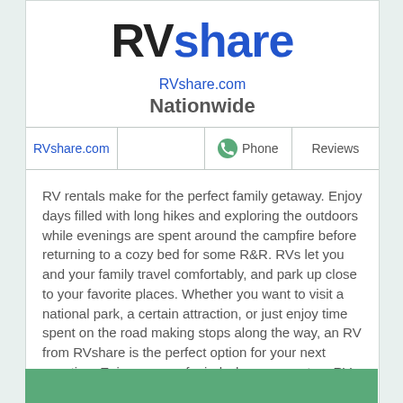RVshare
RVshare.com
Nationwide
| RVshare.com |  | Phone | Reviews |
| --- | --- | --- | --- |
RV rentals make for the perfect family getaway. Enjoy days filled with long hikes and exploring the outdoors while evenings are spent around the campfire before returning to a cozy bed for some R&R. RVs let you and your family travel comfortably, and park up close to your favorite places. Whether you want to visit a national park, a certain attraction, or just enjoy time spent on the road making stops along the way, an RV from RVshare is the perfect option for your next vacation. Enjoy peace of mind when you rent an RV from RVshare with insurance, 24/7 roadside assistance, and our wo ... Read more